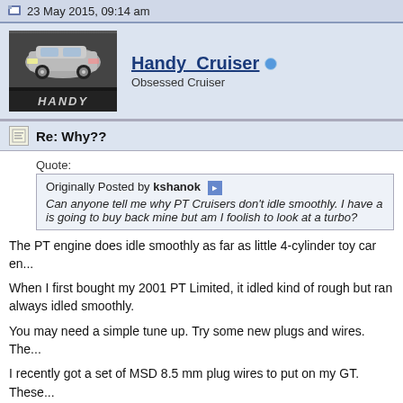23 May 2015, 09:14 am
[Figure (illustration): User avatar showing a silver PT Cruiser car with the word HANDY below it]
Handy_Cruiser — Obsessed Cruiser
Re: Why??
Quote:
Originally Posted by kshanok
Can anyone tell me why PT Cruisers don't idle smoothly. I have a... is going to buy back mine but am I foolish to look at a turbo?
The PT engine does idle smoothly as far as little 4-cylinder toy car en...
When I first bought my 2001 PT Limited, it idled kind of rough but ran... always idled smoothly.
You may need a simple tune up. Try some new plugs and wires. The...
I recently got a set of MSD 8.5 mm plug wires to put on my GT. These...
[Figure (logo): ASE badge logo and text ASE MASTER TECHNICIAN, with car images below]